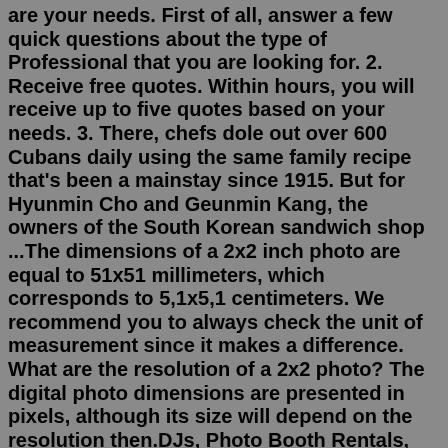are your needs. First of all, answer a few quick questions about the type of Professional that you are looking for. 2. Receive free quotes. Within hours, you will receive up to five quotes based on your needs. 3. There, chefs dole out over 600 Cubans daily using the same family recipe that's been a mainstay since 1915. But for Hyunmin Cho and Geunmin Kang, the owners of the South Korean sandwich shop ...The dimensions of a 2x2 inch photo are equal to 51x51 millimeters, which corresponds to 5,1x5,1 centimeters. We recommend you to always check the unit of measurement since it makes a difference. What are the resolution of a 2x2 photo? The digital photo dimensions are presented in pixels, although its size will depend on the resolution then.DJs, Photo Booth Rentals, Wedding Planning. Exceptionally Yours Weddings & Events. 38. ... Wedding Decorators Near Me. Frequently Asked Questions about Korean Wedding ... Here's the design steps: 1,First you need to pay 300USD for the deposit of the design . 2, We will Provide you 3D design and construction drawing